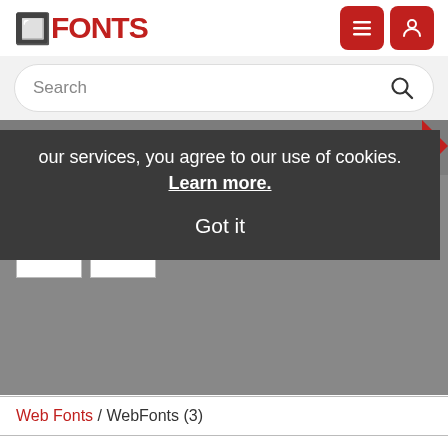TFONTS
Search
our services, you agree to our use of cookies. Learn more.
Got it
Web Fonts / WebFonts (3)